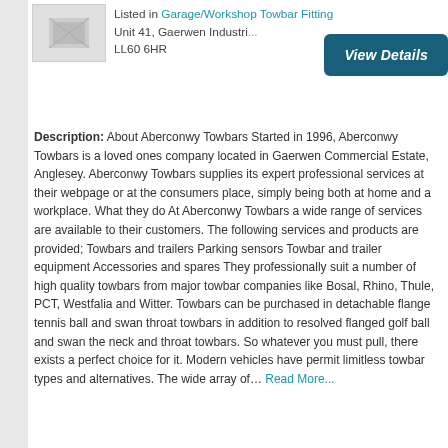[Figure (photo): Small thumbnail image placeholder, grey box]
Listed in Garage/Workshop Towbar Fitting
Unit 41, Gaerwen Industri...
LL60 6HR
View Details
Description: About Aberconwy Towbars Started in 1996, Aberconwy Towbars is a loved ones company located in Gaerwen Commercial Estate, Anglesey. Aberconwy Towbars supplies its expert professional services at their webpage or at the consumers place, simply being both at home and a workplace. What they do At Aberconwy Towbars a wide range of services are available to their customers. The following services and products are provided; Towbars and trailers Parking sensors Towbar and trailer equipment Accessories and spares They professionally suit a number of high quality towbars from major towbar companies like Bosal, Rhino, Thule, PCT, Westfalia and Witter. Towbars can be purchased in detachable flange tennis ball and swan throat towbars in addition to resolved flanged golf ball and swan the neck and throat towbars. So whatever you must pull, there exists a perfect choice for it. Modern vehicles have permit limitless towbar types and alternatives. The wide array of… Read More...